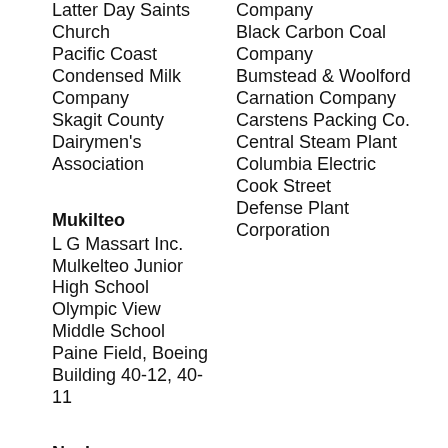Latter Day Saints Church
Pacific Coast Condensed Milk Company
Skagit County Dairymen's Association
Mukilteo
L G Massart Inc.
Mulkelteo Junior High School
Olympic View Middle School
Paine Field, Boeing Building 40-12, 40-11
Naches
Company
Black Carbon Coal Company
Bumstead & Woolford
Carnation Company
Carstens Packing Co.
Central Steam Plant
Columbia Electric
Cook Street
Defense Plant Corporation